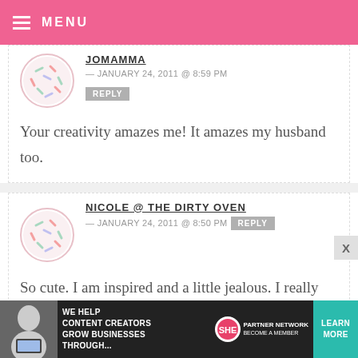MENU
JOMAMMA — JANUARY 24, 2011 @ 8:59 PM
REPLY
Your creativity amazes me! It amazes my husband too.
NICOLE @ THE DIRTY OVEN — JANUARY 24, 2011 @ 8:50 PM
REPLY
So cute. I am inspired and a little jealous. I really have only mastered the cake pop ghosts, these seem too advanced. Something to work for! You
[Figure (infographic): SHE Media Partner Network advertisement banner at bottom of page]